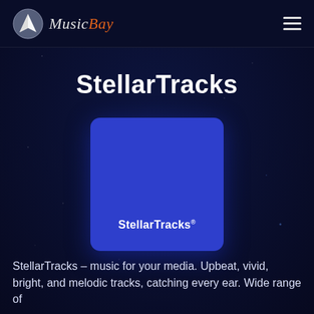[Figure (logo): MusicBay logo with sailboat icon and stylized text 'MusicBay' where 'Bay' is in orange italic]
StellarTracks
[Figure (illustration): Blue rounded-rectangle album cover with white text 'StellarTracks' and a registered trademark superscript]
StellarTracks – music for your media. Upbeat, vivid, bright, and melodic tracks, catching every ear. Wide range of